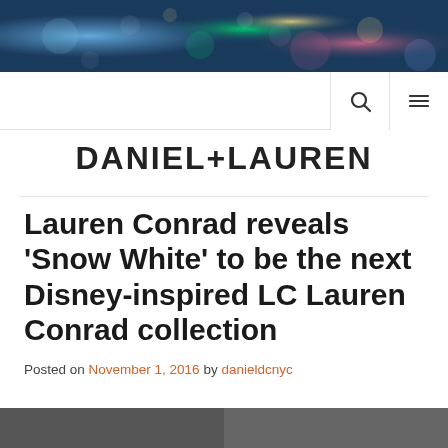[Figure (photo): Blurred city lights bokeh photo used as hero banner background]
DANIEL+LAUREN
Lauren Conrad reveals ‘Snow White’ to be the next Disney-inspired LC Lauren Conrad collection
Posted on November 1, 2016 by danieldcnyc
[Figure (photo): Partial bottom image strip showing a photo]